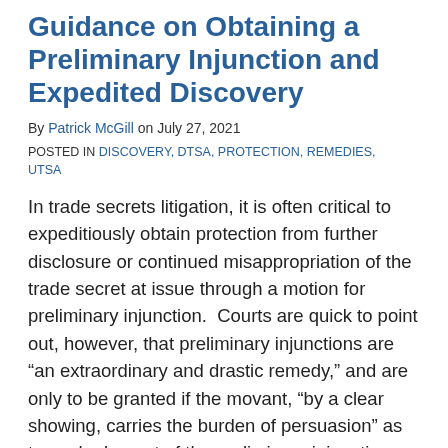Guidance on Obtaining a Preliminary Injunction and Expedited Discovery
By Patrick McGill on July 27, 2021
POSTED IN DISCOVERY, DTSA, PROTECTION, REMEDIES, UTSA
In trade secrets litigation, it is often critical to expeditiously obtain protection from further disclosure or continued misappropriation of the trade secret at issue through a motion for preliminary injunction.  Courts are quick to point out, however, that preliminary injunctions are “an extraordinary and drastic remedy,” and are only to be granted if the movant, “by a clear showing, carries the burden of persuasion” as to each element of the preliminary injunction test.  Lopez v. Brewer, 680 F.3d 1068, 1072 (9th Cir. 2012).